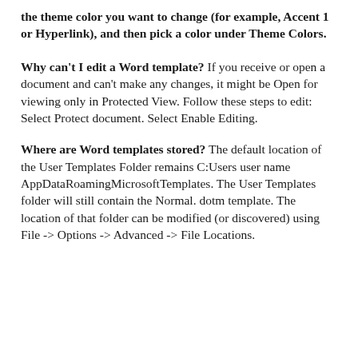the theme color you want to change (for example, Accent 1 or Hyperlink), and then pick a color under Theme Colors.
Why can't I edit a Word template? If you receive or open a document and can't make any changes, it might be Open for viewing only in Protected View. Follow these steps to edit: Select Protect document. Select Enable Editing.
Where are Word templates stored? The default location of the User Templates Folder remains C:Users user name AppDataRoamingMicrosoftTemplates. The User Templates folder will still contain the Normal. dotm template. The location of that folder can be modified (or discovered) using File -> Options -> Advanced -> File Locations.